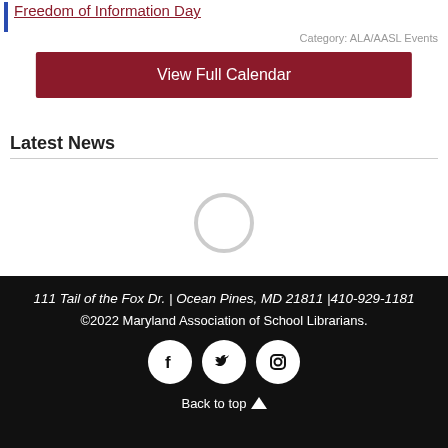Freedom of Information Day
Category: ALA/AASL Events
View Full Calendar
Latest News
[Figure (other): Loading spinner circle]
111 Tail of the Fox Dr. | Ocean Pines, MD 21811 |410-929-1181 ©2022 Maryland Association of School Librarians. Facebook Twitter Instagram Back to top